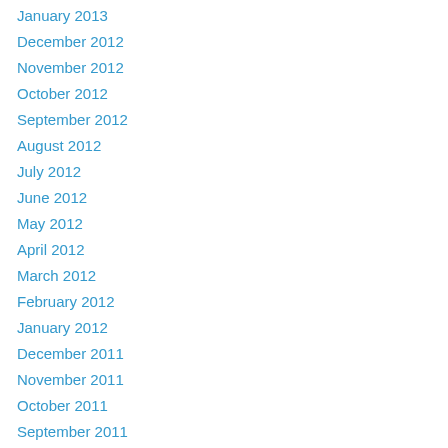January 2013
December 2012
November 2012
October 2012
September 2012
August 2012
July 2012
June 2012
May 2012
April 2012
March 2012
February 2012
January 2012
December 2011
November 2011
October 2011
September 2011
July 2011
June 2011
May 2011